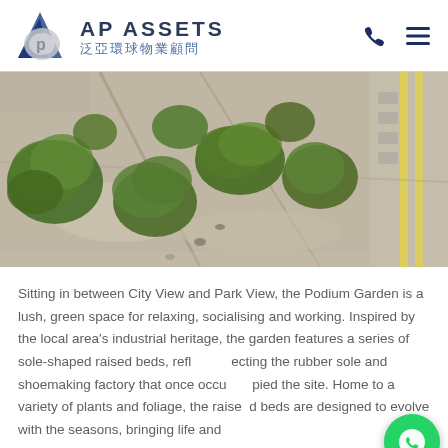AP ASSETS 泛亞環球物業顧問
[Figure (photo): Aerial/overhead view of a podium garden with lush green trees and plants arranged in curved sole-shaped raised beds on a concrete surface, surrounded by urban buildings.]
Sitting in between City View and Park View, the Podium Garden is a lush, green space for relaxing, socialising and working. Inspired by the local area's industrial heritage, the garden features a series of sole-shaped raised beds, reflecting the rubber sole and shoemaking factory that once occupied the site. Home to a variety of plants and foliage, the raised beds are designed to evolve with the seasons, bringing life and